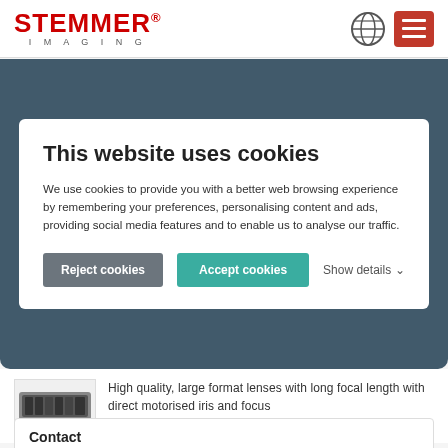[Figure (logo): STEMMER IMAGING logo with red bold text and globe/menu icons in header]
This website uses cookies
We use cookies to provide you with a better web browsing experience by remembering your preferences, personalising content and ads, providing social media features and to enable us to analyse our traffic.
Reject cookies | Accept cookies | Show details
High quality, large format lenses with long focal length with direct motorised iris and focus
Contact